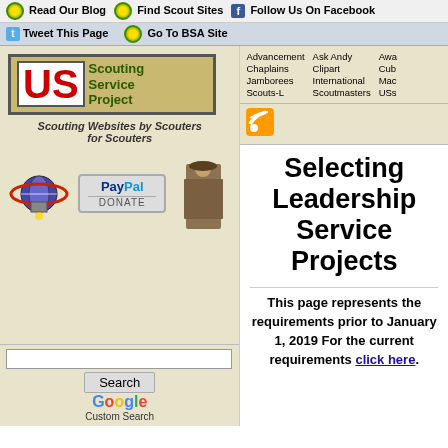Read Our Blog | Find Scout Sites | Follow Us On Facebook | Tweet This Page | Go To BSA Site
[Figure (screenshot): US Scouting Service Project logo with red US letters and green Scouting Service Project text]
Scouting Websites by Scouters for Scouters
[Figure (illustration): Globe with red ring icon, PayPal Donate button, Scout master figure]
Advancement Chaplains Jamborees Scouts-L Ask Andy Clipart International Scoutmasters
[Figure (other): RSS feed icon]
Selecting Leadership Service Projects
This page represents the requirements prior to January 1, 2019 For the current requirements click here.
Search | Google Custom Search